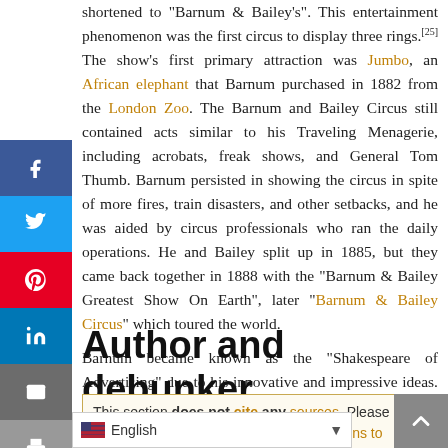shortened to "Barnum & Bailey's". This entertainment phenomenon was the first circus to display three rings.[25] The show's first primary attraction was Jumbo, an African elephant that Barnum purchased in 1882 from the London Zoo. The Barnum and Bailey Circus still contained acts similar to his Traveling Menagerie, including acrobats, freak shows, and General Tom Thumb. Barnum persisted in showing the circus in spite of more fires, train disasters, and other setbacks, and he was aided by circus professionals who ran the daily operations. He and Bailey split up in 1885, but they came back together in 1888 with the "Barnum & Bailey Greatest Show On Earth", later "Barnum & Bailey Circus" which toured the world.

Barnum became known as the "Shakespeare of Advertising" due to his innovative and impressive ideas.[26]
Author and debunker
This section does not cite any sources. Please help improve this section by adding citations to reliable ... material may be challenged and